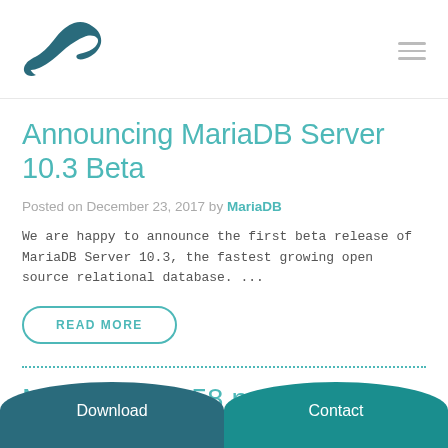[Figure (logo): MariaDB dolphin/seal logo in dark teal]
Announcing MariaDB Server 10.3 Beta
Posted on December 23, 2017 by MariaDB
We are happy to announce the first beta release of MariaDB Server 10.3, the fastest growing open source relational database. ...
READ MORE
MariaDB 5.5.58 now available
Download
Contact